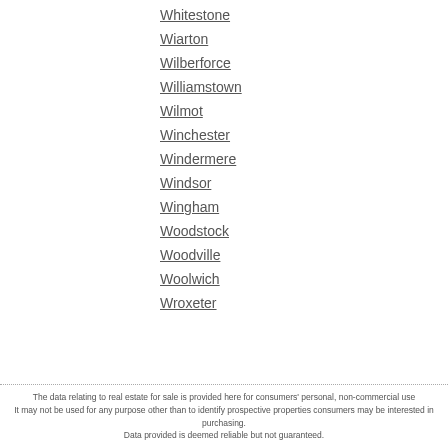Whitestone
Wiarton
Wilberforce
Williamstown
Wilmot
Winchester
Windermere
Windsor
Wingham
Woodstock
Woodville
Woolwich
Wroxeter
The data relating to real estate for sale is provided here for consumers' personal, non-commercial use It may not be used for any purpose other than to identify prospective properties consumers may be interested in purchasing. Data provided is deemed reliable but not guaranteed.